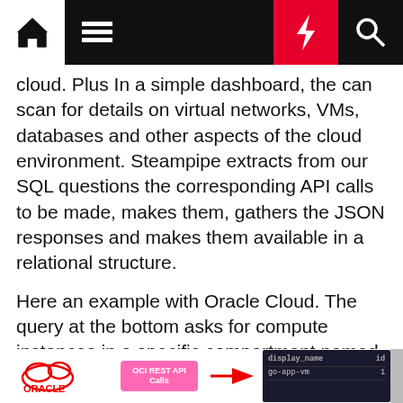[Navigation bar with home, menu, lightning, search icons]
cloud. Plus In a simple dashboard, the can scan for details on virtual networks, VMs, databases and other aspects of the cloud environment. Steampipe extracts from our SQL questions the corresponding API calls to be made, makes them, gathers the JSON responses and makes them available in a relational structure.
Here an example with Oracle Cloud. The query at the bottom asks for compute instances in a specific compartment named "go-on-oci". Steampipe makes corresponding calls to the OCI APIs, performs the transformation and subsequent filtering/sorting/conversion/aggregation specified in the SQL statement. The result is produced in one of various formats.
[Figure (screenshot): Bottom portion showing Oracle logo, OCI REST API Calls box in pink, an arrow, and a terminal/table output showing display_name and id columns with go-app-vm row]